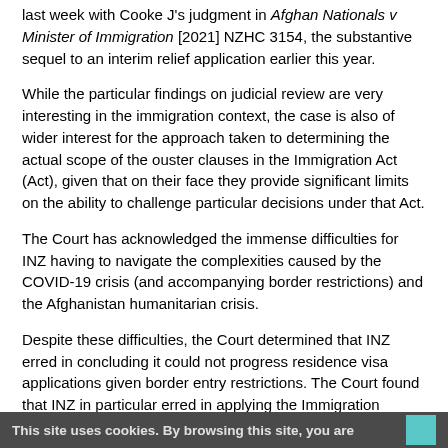last week with Cooke J's judgment in Afghan Nationals v Minister of Immigration [2021] NZHC 3154, the substantive sequel to an interim relief application earlier this year.
While the particular findings on judicial review are very interesting in the immigration context, the case is also of wider interest for the approach taken to determining the actual scope of the ouster clauses in the Immigration Act (Act), given that on their face they provide significant limits on the ability to challenge particular decisions under that Act.
The Court has acknowledged the immense difficulties for INZ having to navigate the complexities caused by the COVID-19 crisis (and accompanying border restrictions) and the Afghanistan humanitarian crisis.
Despite these difficulties, the Court determined that INZ erred in concluding it could not progress residence visa applications given border entry restrictions. The Court found that INZ in particular erred in applying the Immigration Instructions (as amended to reflect the border policy which came into force in March 2020) (Instructions) to the applications in question, rather than the Instructions in force at the time the applications were made.
This site uses cookies. By browsing this site, you are